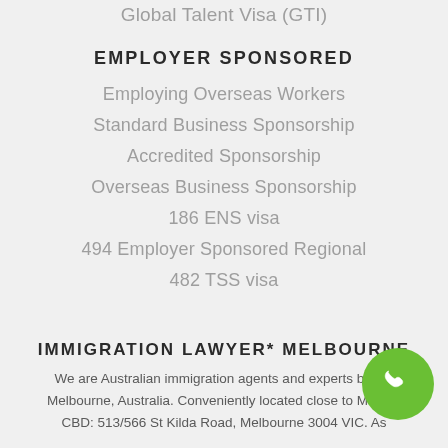Global Talent Visa (GTI)
EMPLOYER SPONSORED
Employing Overseas Workers
Standard Business Sponsorship
Accredited Sponsorship
Overseas Business Sponsorship
186 ENS visa
494 Employer Sponsored Regional
482 TSS visa
IMMIGRATION LAWYER* MELBOURNE
We are Australian immigration agents and experts based in Melbourne, Australia. Conveniently located close to Melbourne CBD: 513/566 St Kilda Road, Melbourne 3004 VIC. As